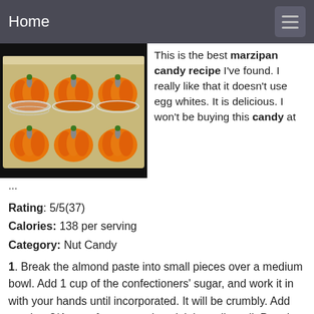Home
[Figure (photo): Photo of orange marzipan pumpkin candies arranged in white paper cups in a foil tray]
This is the best marzipan candy recipe I've found. I really like that it doesn't use egg whites. It is delicious. I won't be buying this candy at ...
Rating: 5/5(37)
Calories: 138 per serving
Category: Nut Candy
1. Break the almond paste into small pieces over a medium bowl. Add 1 cup of the confectioners' sugar, and work it in with your hands until incorporated. It will be crumbly. Add another 3/4 cup of sugar, and work it in really well. Pour in the corn syrup, and work it in until evenly blended. Spread remaining sugar out on a clean work surface, and knead the dough until smooth and uniform, 3 to 5 minutes. If the